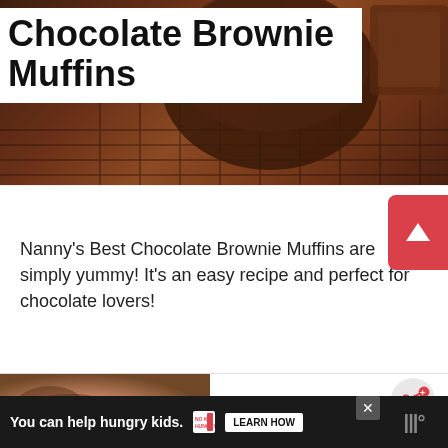[Figure (photo): Chocolate brownie muffins on a cooling rack, dark chocolate texture visible]
Chocolate Brownie Muffins
Nanny's Best Chocolate Brownie Muffins are simply yummy! It's an easy recipe and perfect for chocolate lovers!
Continue Reading
[Figure (photo): Partial view of food item in lower section]
WHAT'S NEXT → Lemon Impossible Pie
You can help hungry kids. NO KID HUNGRY LEARN HOW